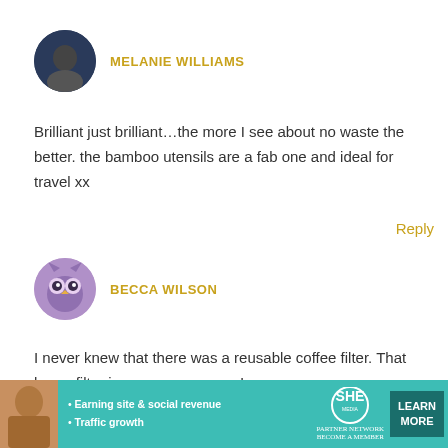[Figure (photo): Round avatar photo of Melanie Williams, dark photo of a person]
MELANIE WILLIAMS
Brilliant just brilliant…the more I see about no waste the better. the bamboo utensils are a fab one and ideal for travel xx
Reply
[Figure (illustration): Round avatar of Becca Wilson, cartoon owl face in purple/pink tones]
BECCA WILSON
I never knew that there was a reusable coffee filter. That hemp filter is so very awesome!
Reply
[Figure (infographic): SHE Partner Network advertisement banner with teal background, woman photo, bullet points about earning site & social revenue and traffic growth, SHE logo, and Learn More button]